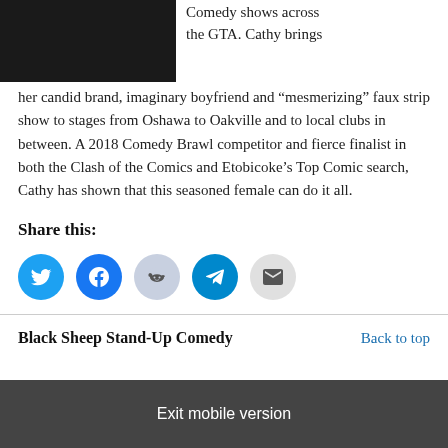[Figure (photo): Dark photo of a person, partially visible at top left]
Comedy shows across the GTA. Cathy brings her candid brand, imaginary boyfriend and “mesmerizing” faux strip show to stages from Oshawa to Oakville and to local clubs in between. A 2018 Comedy Brawl competitor and fierce finalist in both the Clash of the Comics and Etobicoke’s Top Comic search, Cathy has shown that this seasoned female can do it all.
Share this:
[Figure (infographic): Row of five social share buttons: Twitter (blue), Facebook (blue), Reddit (light blue/grey), Telegram (blue), Email (grey)]
Black Sheep Stand-Up Comedy
Back to top
Exit mobile version